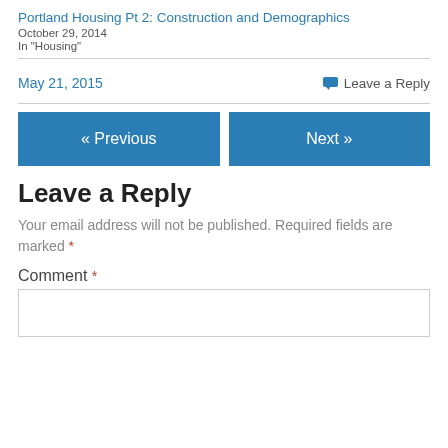Portland Housing Pt 2: Construction and Demographics
October 29, 2014
In "Housing"
May 21, 2015
Leave a Reply
« Previous
Next »
Leave a Reply
Your email address will not be published. Required fields are marked *
Comment *